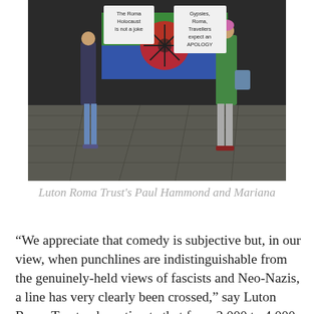[Figure (photo): Two people holding a Roma flag (green, blue and red with a wheel symbol) and protest signs. Left sign reads 'The Roma Holocaust is not a joke', right sign reads 'Gypsies, Roma, Travellers expect an APOLOGY'. They stand on a stone-paved area at night.]
Luton Roma Trust's Paul Hammond and Mariana
“We appreciate that comedy is subjective but, in our view, when punchlines are indistinguishable from the genuinely-held views of fascists and Neo-Nazis, a line has very clearly been crossed,” say Luton Roma Trust, who estimate that from 2,000 to 4,000 Roma live in and around Luton and Dunstable. The small charity provides support to this community, like helping with housing,